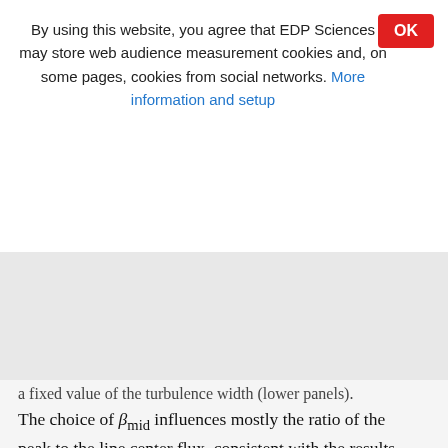By using this website, you agree that EDP Sciences may store web audience measurement cookies and, on some pages, cookies from social networks. More information and setup
a fixed value of the turbulence width (lower panels). The choice of β_mid influences mostly the ratio of the peak to the line center flux, consistent with the results